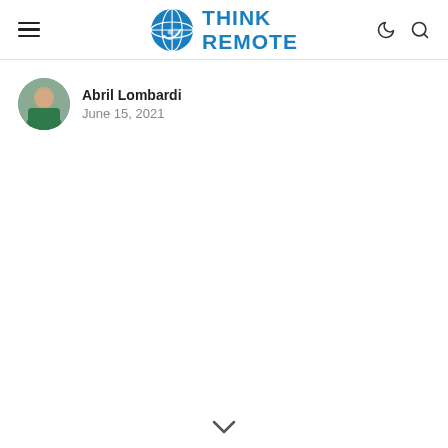Think Remote
Abril Lombardi
June 15, 2021